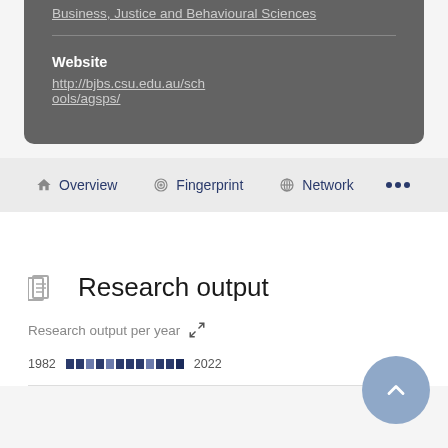Business, Justice and Behavioural Sciences
Website
http://bjbs.csu.edu.au/schools/agsps/
Overview  Fingerprint  Network  ...
Research output
Research output per year
1982 2022